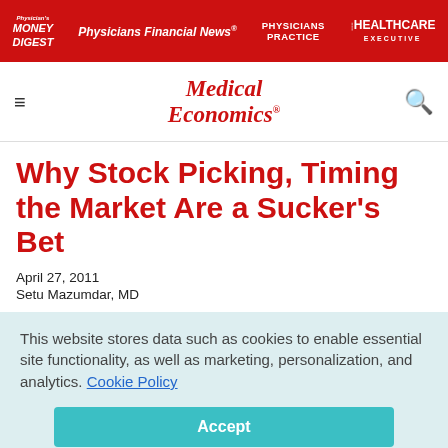Physician's Money Digest | Physicians Financial News | Physicians Practice | Healthcare Executive
[Figure (logo): Medical Economics logo with red italic text]
Why Stock Picking, Timing the Market Are a Sucker's Bet
April 27, 2011
Setu Mazumdar, MD
This website stores data such as cookies to enable essential site functionality, as well as marketing, personalization, and analytics. Cookie Policy
Accept
Deny